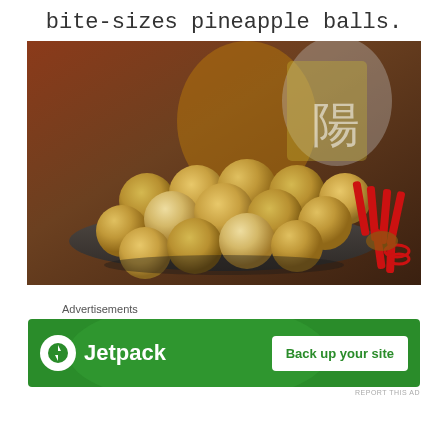bite-sizes pineapple balls.
[Figure (photo): A plate of golden bite-sized pineapple balls (pastries) stacked on a dark plate, with red decorative items on the right side and a jar with Chinese characters in the background.]
Advertisements
[Figure (other): Jetpack advertisement banner with green background, Jetpack logo on the left and 'Back up your site' button on the right.]
REPORT THIS AD